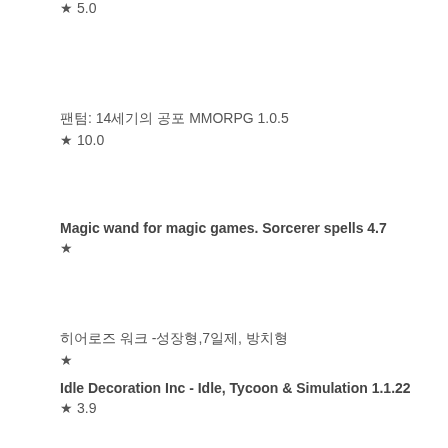★ 5.0
팬텀: 14세기의 공포 MMORPG 1.0.5
★ 10.0
Magic wand for magic games. Sorcerer spells 4.7
★
히어로즈 워크 -성장형,7일제, 방치형RPG
★
Idle Decoration Inc - Idle, Tycoon & Simulation 1.1.22
★ 3.9